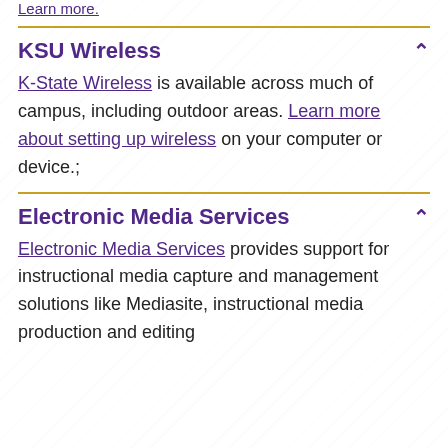Learn more.
KSU Wireless
K-State Wireless is available across much of campus, including outdoor areas. Learn more about setting up wireless on your computer or device.;
Electronic Media Services
Electronic Media Services provides support for instructional media capture and management solutions like Mediasite, instructional media production and editing